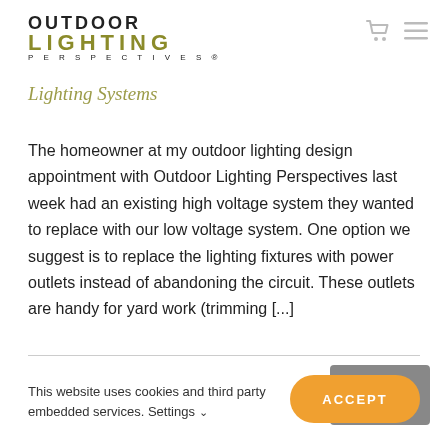OUTDOOR LIGHTING PERSPECTIVES®
Lighting Systems
The homeowner at my outdoor lighting design appointment with Outdoor Lighting Perspectives last week had an existing high voltage system they wanted to replace with our low voltage system. One option we suggest is to replace the lighting fixtures with power outlets instead of abandoning the circuit. These outlets are handy for yard work (trimming [...]
This website uses cookies and third party embedded services. Settings ∨